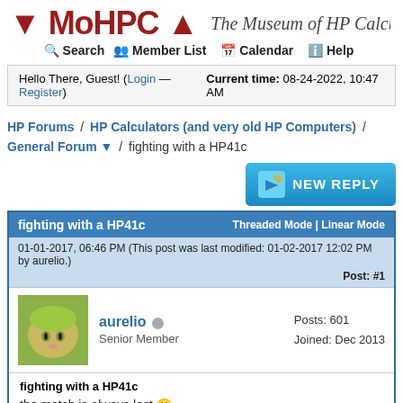↓ MoHPC ↑  The Museum of HP Calcu…
Search  Member List  Calendar  Help
Hello There, Guest! (Login — Register)  Current time: 08-24-2022, 10:47 AM
HP Forums / HP Calculators (and very old HP Computers) / General Forum ▼ / fighting with a HP41c
[Figure (screenshot): NEW REPLY button]
| fighting with a HP41c | Threaded Mode | Linear Mode |
| 01-01-2017, 06:46 PM (This post was last modified: 01-02-2017 12:02 PM by aurelio.) | Post: #1 |
| aurelio  [offline icon]
Senior Member
Posts: 601
Joined: Dec 2013 |  |
| fighting with a HP41c
the match is always lost 🙂 |  |